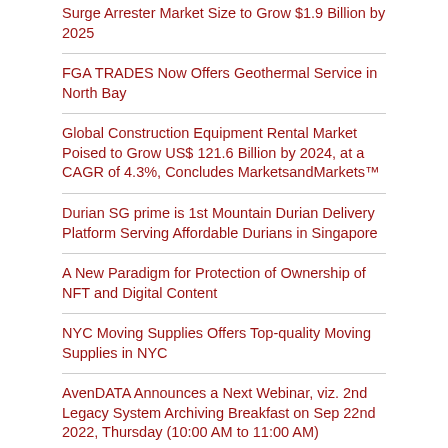Surge Arrester Market Size to Grow $1.9 Billion by 2025
FGA TRADES Now Offers Geothermal Service in North Bay
Global Construction Equipment Rental Market Poised to Grow US$ 121.6 Billion by 2024, at a CAGR of 4.3%, Concludes MarketsandMarkets™
Durian SG prime is 1st Mountain Durian Delivery Platform Serving Affordable Durians in Singapore
A New Paradigm for Protection of Ownership of NFT and Digital Content
NYC Moving Supplies Offers Top-quality Moving Supplies in NYC
AvenDATA Announces a Next Webinar, viz. 2nd Legacy System Archiving Breakfast on Sep 22nd 2022, Thursday (10:00 AM to 11:00 AM)
Divine Painters. A Professional Painting Company in